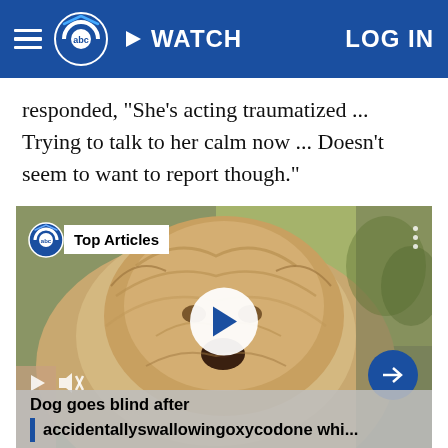6abc WATCH | LOG IN
responded, "She's acting traumatized ... Trying to talk to her calm now ... Doesn't seem to want to report though."
[Figure (screenshot): Video thumbnail of a fluffy dog with Top Articles badge overlay, play button in center, mute icon and forward arrow controls, caption reading 'Dog goes blind after accidentallyswallowingoxycodone whi...']